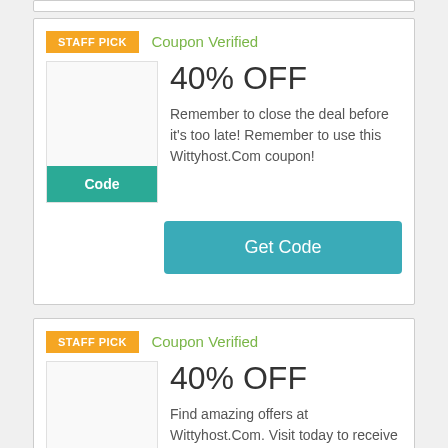[Figure (other): Top stub of a coupon card partially visible at the top of the page]
STAFF PICK
Coupon Verified
40% OFF
Remember to close the deal before it's too late! Remember to use this Wittyhost.Com coupon!
Code
Get Code
STAFF PICK
Coupon Verified
40% OFF
Find amazing offers at Wittyhost.Com. Visit today to receive great deals using Wittyhost.Com
Code